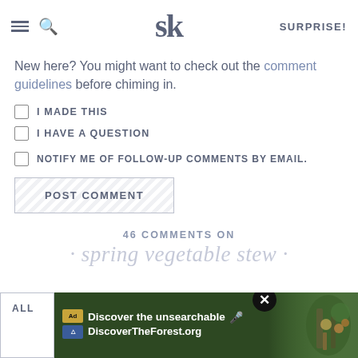SK SURPRISE!
New here? You might want to check out the comment guidelines before chiming in.
I MADE THIS
I HAVE A QUESTION
NOTIFY ME OF FOLLOW-UP COMMENTS BY EMAIL.
POST COMMENT
46 COMMENTS ON
· spring vegetable stew ·
ALL
[Figure (screenshot): Advertisement banner for DiscoverTheForest.org with text 'Discover the unsearchable' and 'DiscoverTheForest.org' over a forest background with people hiking.]